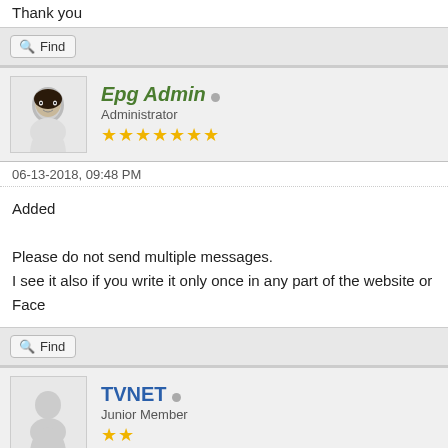Thank you
Find
Epg Admin
Administrator
★★★★★★★
06-13-2018, 09:48 PM
Added

Please do not send multiple messages.
I see it also if you write it only once in any part of the website or Face
Find
TVNET
Junior Member
★★
06-13-2018, 10:23 PM